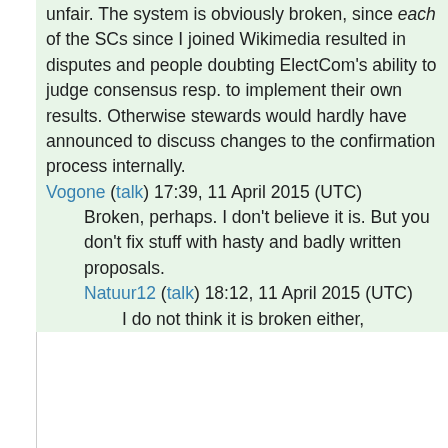unfair. The system is obviously broken, since each of the SCs since I joined Wikimedia resulted in disputes and people doubting ElectCom's ability to judge consensus resp. to implement their own results. Otherwise stewards would hardly have announced to discuss changes to the confirmation process internally. Vogone (talk) 17:39, 11 April 2015 (UTC)
Broken, perhaps. I don't believe it is. But you don't fix stuff with hasty and badly written proposals. Natuur12 (talk) 18:12, 11 April 2015 (UTC)
I do not think it is broken either,